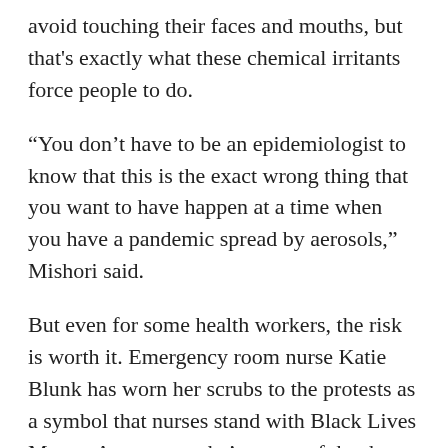avoid touching their faces and mouths, but that's exactly what these chemical irritants force people to do.
“You don’t have to be an epidemiologist to know that this is the exact wrong thing that you want to have happen at a time when you have a pandemic spread by aerosols,” Mishori said.
But even for some health workers, the risk is worth it. Emergency room nurse Katie Blunk has worn her scrubs to the protests as a symbol that nurses stand with Black Lives Matter. As a nurse, she’s aware of the threat of coronavirus, but that wasn’t going to stop her.